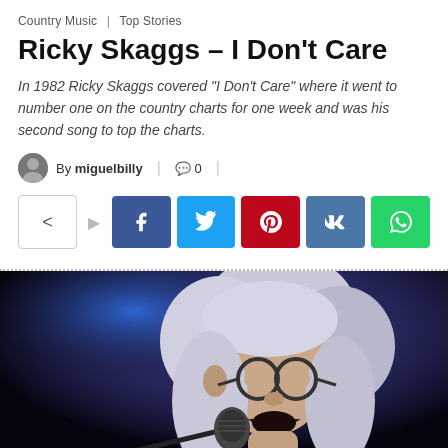Country Music | Top Stories
Ricky Skaggs – I Don't Care
In 1982 Ricky Skaggs covered "I Don't Care" where it went to number one on the country charts for one week and was his second song to top the charts.
By miguelbilly | 💬 0
[Figure (infographic): Social share buttons: share icon box with arrow, Facebook, Twitter, Pinterest, VK, WhatsApp buttons]
[Figure (photo): Photo of Ricky Skaggs performing live with white/grey hair, glasses, singing into a microphone, stage lit with purple/blue light against a dark background]